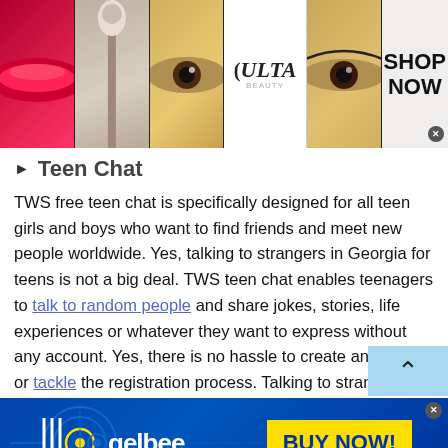[Figure (screenshot): Top advertisement banner for ULTA Beauty showing makeup images (lips, brush, eye) on left, ULTA logo in center white panel, another eye image, and SHOP NOW text on right with close button]
Teen Chat
TWS free teen chat is specifically designed for all teen girls and boys who want to find friends and meet new people worldwide. Yes, talking to strangers in Georgia for teens is not a big deal. TWS teen chat enables teenagers to talk to random people and share jokes, stories, life experiences or whatever they want to express without any account. Yes, there is no hassle to create an account or tackle the registration process. Talking to strangers in
[Figure (screenshot): Bottom advertisement banner for Gelbee product with dark blue background, circular logo, Gelbee text, and yellow BUY NOW! button. Close button and play button visible.]